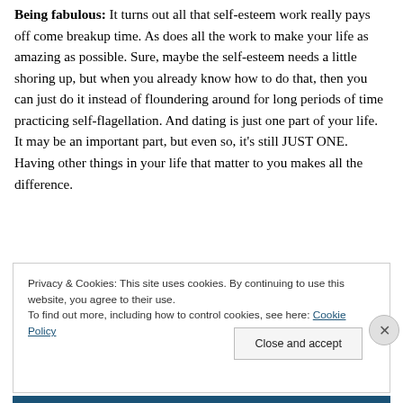Being fabulous: It turns out all that self-esteem work really pays off come breakup time. As does all the work to make your life as amazing as possible. Sure, maybe the self-esteem needs a little shoring up, but when you already know how to do that, then you can just do it instead of floundering around for long periods of time practicing self-flagellation. And dating is just one part of your life. It may be an important part, but even so, it's still JUST ONE. Having other things in your life that matter to you makes all the difference.
Privacy & Cookies: This site uses cookies. By continuing to use this website, you agree to their use.
To find out more, including how to control cookies, see here: Cookie Policy